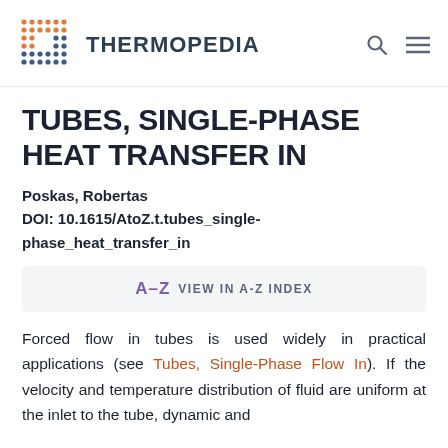THERMOPEDIA
TUBES, SINGLE-PHASE HEAT TRANSFER IN
Poskas, Robertas
DOI: 10.1615/AtoZ.t.tubes_single-phase_heat_transfer_in
A–Z VIEW IN A-Z INDEX
Forced flow in tubes is used widely in practical applications (see Tubes, Single-Phase Flow In). If the velocity and temperature distribution of fluid are uniform at the inlet to the tube, dynamic and